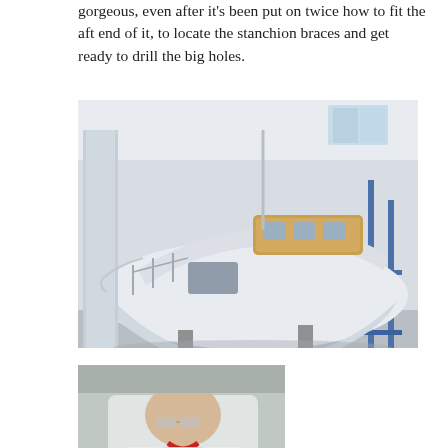gorgeous, even after it's been put on twice how to fit the aft end of it, to locate the stanchion braces and get ready to drill the big holes.
[Figure (photo): A white sailboat hull under construction inside a workshop/boatyard, supported on stands, with blue scaffolding on the right side. The boat's interior is partially visible with orange/wood-colored sections. Industrial building in background.]
[Figure (photo): A person in a white lab coat and safety glasses bending over, appearing to work on or inspect something close up, holding a tool or object in their hands.]